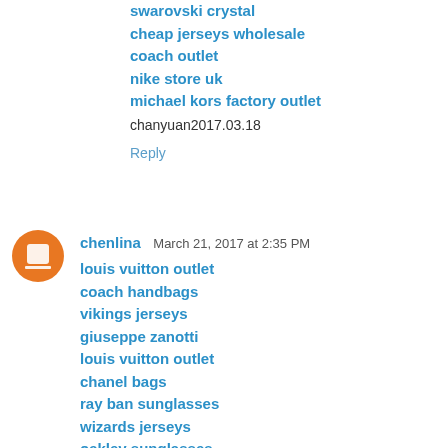swarovski crystal
cheap jerseys wholesale
coach outlet
nike store uk
michael kors factory outlet
chanyuan2017.03.18
Reply
chenlina  March 21, 2017 at 2:35 PM
louis vuitton outlet
coach handbags
vikings jerseys
giuseppe zanotti
louis vuitton outlet
chanel bags
ray ban sunglasses
wizards jerseys
oakley sunglasses
air jordan
chenlina20170321